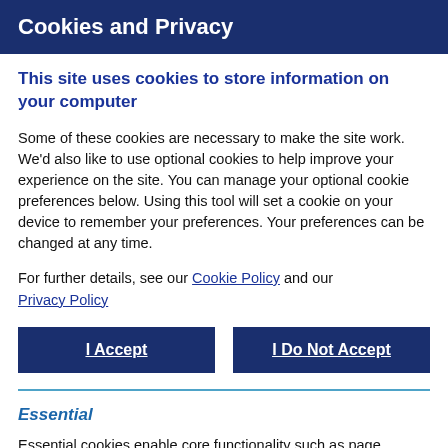Cookies and Privacy
This site uses cookies to store information on your computer
Some of these cookies are necessary to make the site work. We'd also like to use optional cookies to help improve your experience on the site. You can manage your optional cookie preferences below. Using this tool will set a cookie on your device to remember your preferences. Your preferences can be changed at any time.
For further details, see our Cookie Policy and our Privacy Policy
I Accept
I Do Not Accept
Essential
Essential cookies enable core functionality such as page navigation and access to secure areas. The